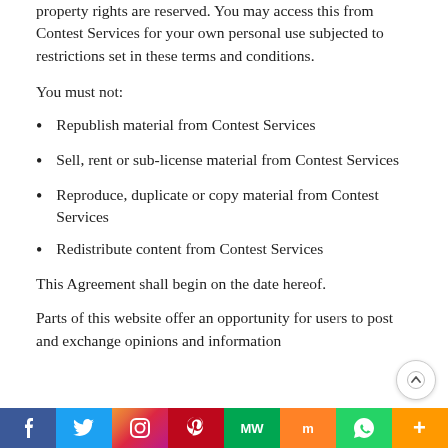property rights are reserved. You may access this from Contest Services for your own personal use subjected to restrictions set in these terms and conditions.
You must not:
Republish material from Contest Services
Sell, rent or sub-license material from Contest Services
Reproduce, duplicate or copy material from Contest Services
Redistribute content from Contest Services
This Agreement shall begin on the date hereof.
Parts of this website offer an opportunity for users to post and exchange opinions and information